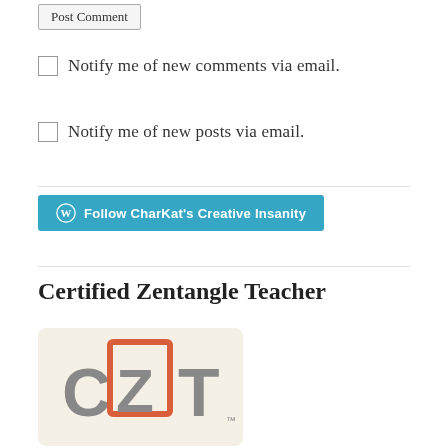Post Comment (button)
Notify me of new comments via email.
Notify me of new posts via email.
[Figure (other): Follow CharKat's Creative Insanity button — WordPress follow button in teal/blue with WordPress icon]
Certified Zentangle Teacher
[Figure (logo): CZT logo — Certified Zentangle Teacher logo with C, Z in orange hand-drawn square, T letters in grey on cream background]